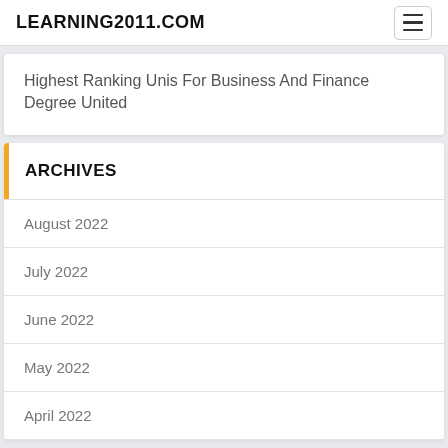LEARNING2011.COM
Highest Ranking Unis For Business And Finance Degree United
ARCHIVES
August 2022
July 2022
June 2022
May 2022
April 2022